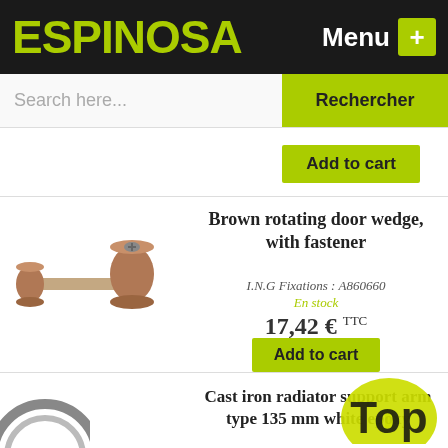ESPINOSA | Menu +
Search here... | Rechercher
Add to cart
Brown rotating door wedge, with fastener
[Figure (photo): Brown rotating door wedge with fastener hardware component]
I.N.G Fixations : A860660
En stock
17,42 € TTC
Add to cart
Cast iron radiator support arm type 135 mm white ep...
[Figure (photo): Cast iron radiator support arm product image]